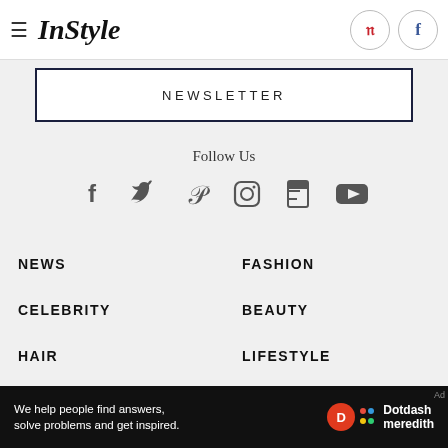InStyle
NEWSLETTER
Follow Us
[Figure (infographic): Social media icons row: Facebook, Twitter, Pinterest, Instagram, Flipboard, YouTube]
NEWS
FASHION
CELEBRITY
BEAUTY
HAIR
LIFESTYLE
POLITICS & SOCIAL ISSUES
POP CULTURE
We help people find answers, solve problems and get inspired. Dotdash meredith